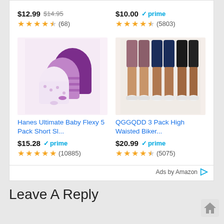[Figure (screenshot): Amazon product ad widget showing 4 products in a 2-column grid layout with prices, Prime badges, star ratings, and product images]
$12.99 $14.95 ★★★★½ (68) | $10.00 ✓prime ★★★★½ (5803)
[Figure (photo): Hanes Ultimate Baby Flexy 5 Pack Short Sleeve bodysuits in purple, pink, striped, and white patterns]
[Figure (photo): QGGQDD 3 Pack High Waisted Biker shorts in mauve, navy, and black worn by female models]
Hanes Ultimate Baby Flexy 5 Pack Short Sl...
QGGQDD 3 Pack High Waisted Biker...
$15.28 ✓prime ★★★★★ (10885)
$20.99 ✓prime ★★★★½ (5075)
Ads by Amazon
Leave A Reply